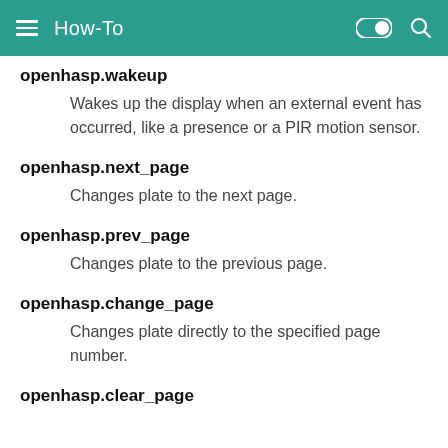How-To
openhasp.wakeup
Wakes up the display when an external event has occurred, like a presence or a PIR motion sensor.
openhasp.next_page
Changes plate to the next page.
openhasp.prev_page
Changes plate to the previous page.
openhasp.change_page
Changes plate directly to the specified page number.
openhasp.clear_page